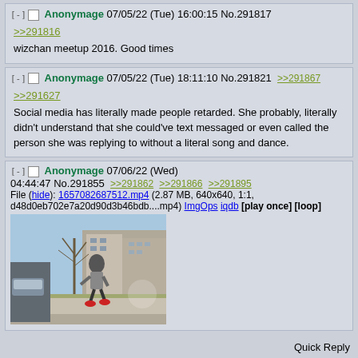Anonymage 07/05/22 (Tue) 16:00:15 No.291817 >>291816 wizchan meetup 2016. Good times
Anonymage 07/05/22 (Tue) 18:11:10 No.291821 >>291867 >>291627 Social media has literally made people retarded. She probably, literally didn't understand that she could've text messaged or even called the person she was replying to without a literal song and dance.
Anonymage 07/06/22 (Wed) 04:44:47 No.291855 >>291862 >>291866 >>291895 File (hide): 1657082687512.mp4 (2.87 MB, 640x640, 1:1, d48d0eb702e7a20d90d3b46bdb....mp4) ImgOps iqdb [play once] [loop]
[Figure (screenshot): Video thumbnail showing a person dancing/moving on a sidewalk outdoors, urban street scene with buildings and bare trees in background]
Quick Reply